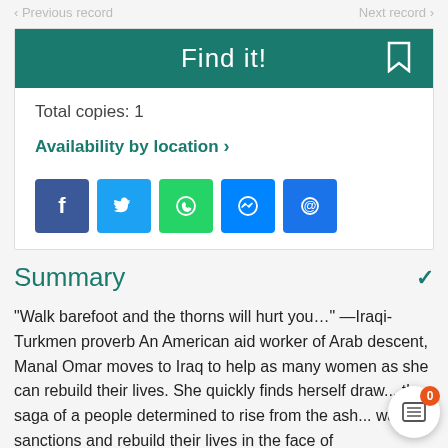< Previous record    Next record >
Find it!
Total copies: 1
Availability by location >
[Figure (infographic): Row of social sharing icons: Facebook, Twitter, WhatsApp, Messenger, Email]
Summary
"Walk barefoot and the thorns will hurt you..." —Iraqi-Turkmen proverb An American aid worker of Arab descent, Manal Omar moves to Iraq to help as many women as she can rebuild their lives. She quickly finds herself draw... the saga of a people determined to rise from the ash... war and sanctions and rebuild their lives in the face of